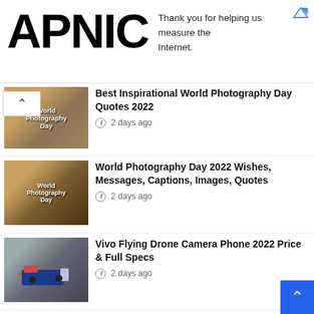APNIC — Thank you for helping us measure the Internet.
Best Inspirational World Photography Day Quotes 2022 — 2 days ago
World Photography Day 2022 Wishes, Messages, Captions, Images, Quotes — 2 days ago
Vivo Flying Drone Camera Phone 2022 Price & Full Specs — 2 days ago
Vivo X100 Pro Price & Full Specs — 2 days ago
Indonesia Independence Day 2022 Image, Picture, Pic, Photos & Wallpaper HD